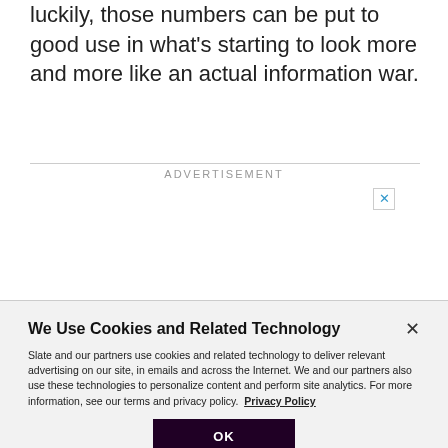luckily, those numbers can be put to good use in what's starting to look more and more like an actual information war.
[Figure (other): Purple advertisement banner with large quotation marks and circular shapes in the background]
We Use Cookies and Related Technology

Slate and our partners use cookies and related technology to deliver relevant advertising on our site, in emails and across the Internet. We and our partners also use these technologies to personalize content and perform site analytics. For more information, see our terms and privacy policy. Privacy Policy

OK